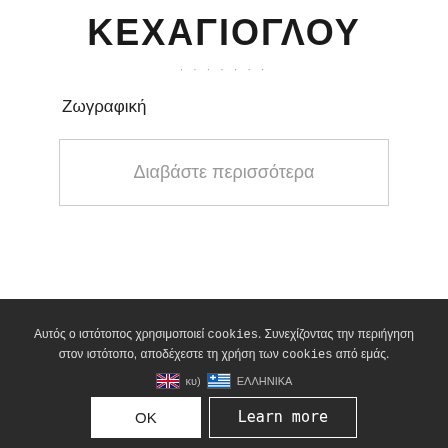ΚΕΧΑΓΙΟΓΛΟΥ
Ζωγραφική
Διαβάστε περισσότερα
Αυτός ο ιστότοπος χρησιμοποιεί cookies. Συνεχίζοντας την περιήγηση στον ιστότοπο, αποδέχεστε τη χρήση των cookies από εμάς.
OK
Learn more